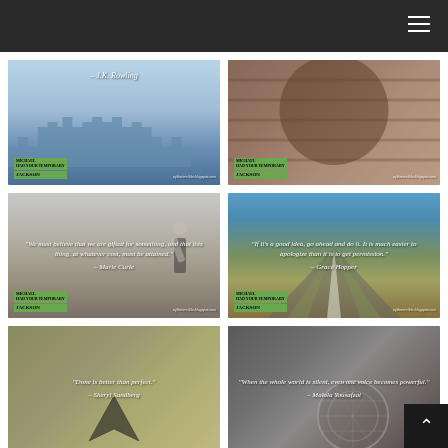Blog header with hamburger menu
[Figure (photo): Quote image with castle background: '– J.K. Rowling' with watermark mjtheterrible.blogspot.com]
[Figure (photo): Quote image with blurred hair/fence background, watermark mjtheterrible.blogspot.com]
[Figure (photo): Quote image with desert background: '"We must believe that we are gifted for something, and that this thing, at whatever cost, must be attained." – Marie Curie']
[Figure (photo): Quote image with road background: '"If it's a good idea, go ahead and do it. It is much easier to apologize than it is to get permission." – Grace Hopper']
[Figure (photo): Quote image with olive/book background: '"Done is better than perfect." – Sheryl Sandberg']
[Figure (photo): Quote image with microphone background: '"When the whole world is silent, even one voice becomes powerful." – Malala Yousafzai']